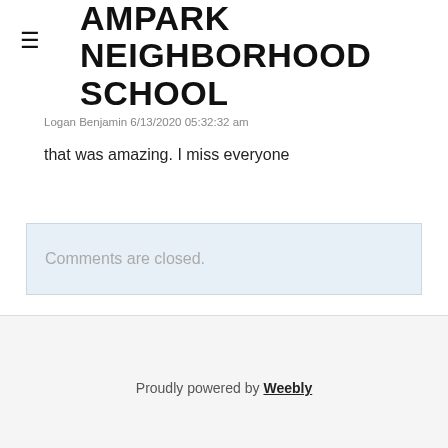AMPARK NEIGHBORHOOD SCHOOL
Logan Benjamin 6/13/2020 05:32:32 am
that was amazing. I miss everyone
Comments are closed.
Proudly powered by Weebly